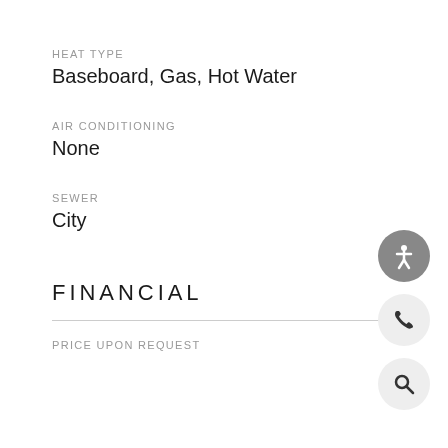HEAT TYPE
Baseboard, Gas, Hot Water
AIR CONDITIONING
None
SEWER
City
FINANCIAL
PRICE UPON REQUEST